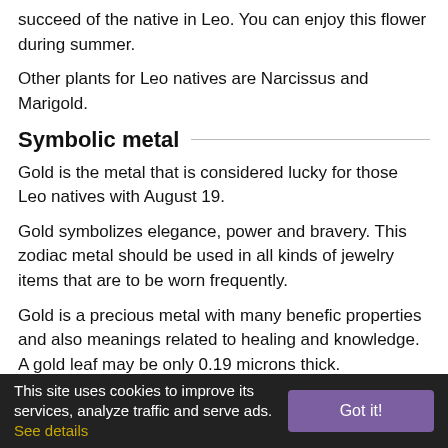succeed of the native in Leo. You can enjoy this flower during summer.
Other plants for Leo natives are Narcissus and Marigold.
Symbolic metal
Gold is the metal that is considered lucky for those Leo natives with August 19.
Gold symbolizes elegance, power and bravery. This zodiac metal should be used in all kinds of jewelry items that are to be worn frequently.
Gold is a precious metal with many benefic properties and also meanings related to healing and knowledge. A gold leaf may be only 0.19 microns thick.
Another metal considered lucky for Leo natives is Bronze.
August 19 Zodiac Poll
This site uses cookies to improve its services, analyze traffic and serve ads. See details